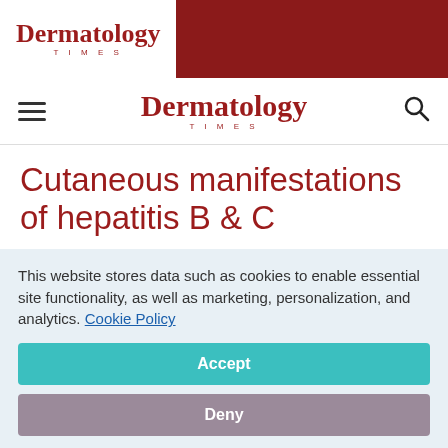Dermatology Times
Cutaneous manifestations of hepatitis B & C
February 1, 2008
[Figure (other): Social media sharing icons: Facebook, Twitter, LinkedIn, Pinterest, Email]
This website stores data such as cookies to enable essential site functionality, as well as marketing, personalization, and analytics. Cookie Policy
Accept
Deny